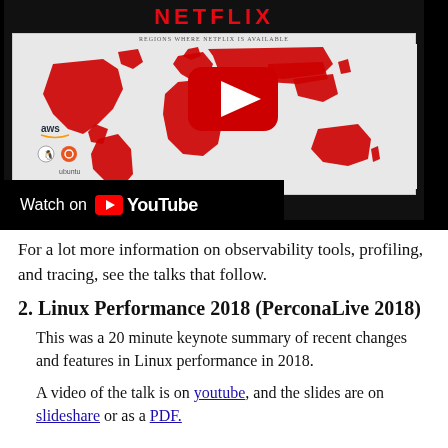[Figure (screenshot): A YouTube video thumbnail showing a Netflix logo in red, a world map showing regions where Netflix is available highlighted in red, along with AWS, Linux, Ubuntu, and FreeBSD logos in the lower left. A YouTube play button overlay is visible on the map. A 'Watch on YouTube' bar appears at the bottom.]
For a lot more information on observability tools, profiling, and tracing, see the talks that follow.
2. Linux Performance 2018 (PerconaLive 2018)
This was a 20 minute keynote summary of recent changes and features in Linux performance in 2018.
A video of the talk is on youtube, and the slides are on slideshare or as a PDF.